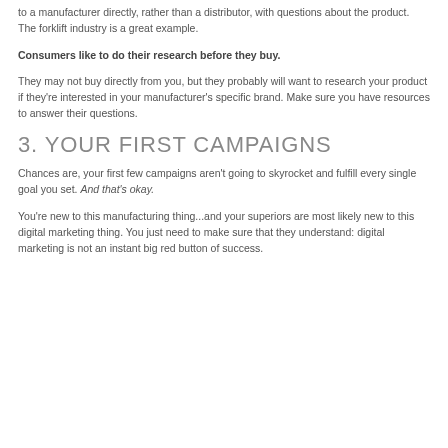to a manufacturer directly, rather than a distributor, with questions about the product. The forklift industry is a great example.
Consumers like to do their research before they buy.
They may not buy directly from you, but they probably will want to research your product if they're interested in your manufacturer's specific brand. Make sure you have resources to answer their questions.
3. YOUR FIRST CAMPAIGNS
Chances are, your first few campaigns aren't going to skyrocket and fulfill every single goal you set. And that's okay.
You're new to this manufacturing thing...and your superiors are most likely new to this digital marketing thing. You just need to make sure that they understand: digital marketing is not an instant big red button of success.